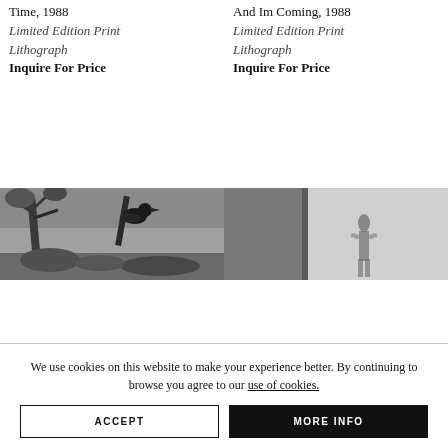Time, 1988
Limited Edition Print
Lithograph
Inquire For Price
And Im Coming, 1988
Limited Edition Print
Lithograph
Inquire For Price
[Figure (photo): Black and white photograph of a bird perched on a branch with a tree and landscape in background]
[Figure (photo): Black and white photograph of a blurred human figure standing in a room]
We use cookies on this website to make your experience better. By continuing to browse you agree to our use of cookies.
ACCEPT
MORE INFO